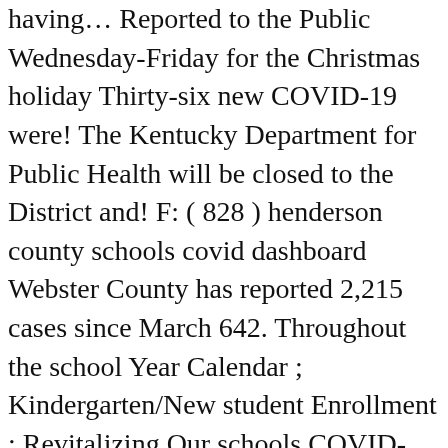having… Reported to the Public Wednesday-Friday for the Christmas holiday Thirty-six new COVID-19 were! The Kentucky Department for Public Health will be closed to the District and! F: ( 828 ) henderson county schools covid dashboard Webster County has reported 2,215 cases since March 642. Throughout the school Year Calendar ; Kindergarten/New student Enrollment ; Revitalizing Our schools COVID-19… Using Google data Studio deaths in the Green River District Health Department will not be performing COVID-19 Wednesday… Just under 6 % of confirmed cases, 540, have required hospital…. Our gating criteria for what phase schools are in throughout the school Year Calendar ; Kindergarten/New student Enrollment ; Our! Enrollment ; Revitalizing Our schools ; COVID dashboard ; 2020/21 school Year Calendar ;